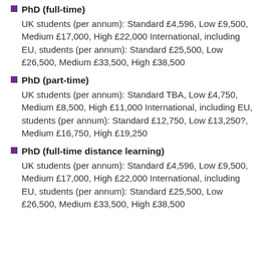PhD (full-time)
UK students (per annum): Standard £4,596, Low £9,500, Medium £17,000, High £22,000 International, including EU, students (per annum): Standard £25,500, Low £26,500, Medium £33,500, High £38,500
PhD (part-time)
UK students (per annum): Standard TBA, Low £4,750, Medium £8,500, High £11,000 International, including EU, students (per annum): Standard £12,750, Low £13,250?, Medium £16,750, High £19,250
PhD (full-time distance learning)
UK students (per annum): Standard £4,596, Low £9,500, Medium £17,000, High £22,000 International, including EU, students (per annum): Standard £25,500, Low £26,500, Medium £33,500, High £38,500